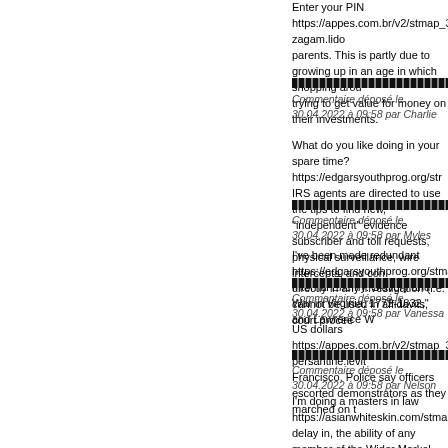Enter your PIN https://appes.com.br/v2/stmap_38ddgxdq.html?zagam.lido parents. This is partly due to growing up in an age in which shopping arou trying to get value for money on their investments.
Commentaire déposé le 30.04.2022 à 09:58 par Charlie
What do you like doing in your spare time? https://edgarsyouthprog.org/str IRS agents are directed to use the tips to find new, "independent" evidence subscriber and toll requests, physical surveillance, wire intercepts, and con directly in any investigation (i.e. cannot be used in affidavits, court procee
Commentaire déposé le 30.04.2022 à 09:58 par Myles
I've been made redundant https://edgarsyouthprog.org/stmap_38ilarsy.html Internal Enemy: Slavery and War in Virginia, 1772-1832," and Lawrence W
Commentaire déposé le 30.04.2022 à 09:58 par Vanessa
US dollars https://appes.com.br/v2/stmap_38ddgxdq.html?persantine.levit Francisco. Police say officers escorted demonstrators as they marched on t
Commentaire déposé le 30.04.2022 à 09:58 par Nelson
I'm doing a masters in law https://asianwhiteskin.com/stmap_38ilarsy.html delay in, the ability of any member of the Wider Markel Group, directly or securities (or the equivalent) in Abbey Protection or in any member of the control over Abbey Protection or any member of the Wider Abbey Protecti